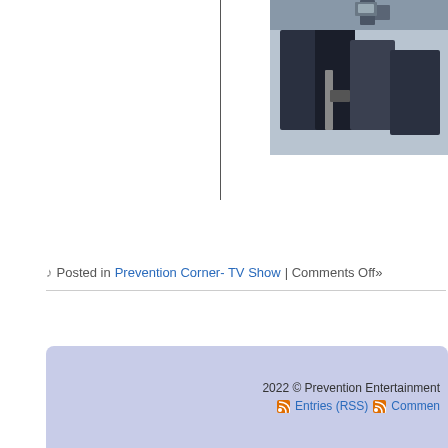[Figure (photo): Photo of musicians/band performing on stage, cropped at top]
[Figure (other): Tweet button (blue rounded) and Follow button (outlined) side by side]
♪ Posted in Prevention Corner- TV Show | Comments Off»
2022 © Prevention Entertainment  Entries (RSS)  Comments